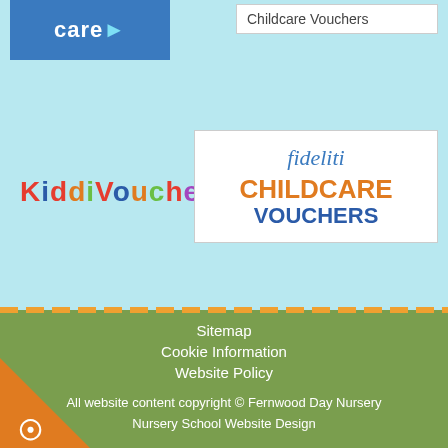[Figure (logo): Blue logo box (partially visible, top-left) with white text 'care' and arrow]
Childcare Vouchers
[Figure (logo): KiddiVouchers logo in multicolor letters]
[Figure (logo): Fideliti Childcare Vouchers logo in white box]
Sitemap
Cookie Information
Website Policy
All website content copyright © Fernwood Day Nursery
Nursery School Website Design